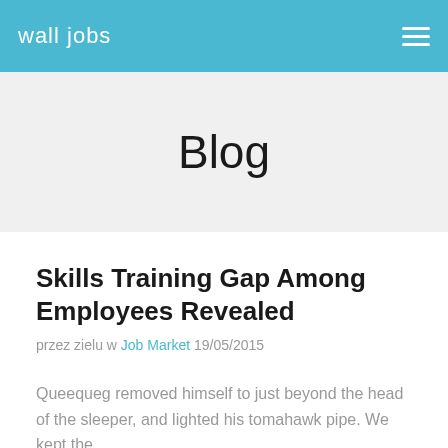wall jobs
Blog
Skills Training Gap Among Employees Revealed
przez zielu w Job Market 19/05/2015
Queequeg removed himself to just beyond the head of the sleeper, and lighted his tomahawk pipe. We kept the